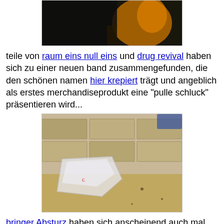[Figure (photo): Partial photo at top showing dark scene with orange/yellow light, people in background]
teile von raum eins null eins und drug revival haben sich zu einer neuen band zusammengefunden, die den schönen namen hier krepiert trägt und angeblich als erstes merchandiseprodukt eine "pulle schluck" präsentieren wird...
[Figure (photo): Photo of a small transparent ziplock plastic bag on a stone-tiled floor]
bringer Absturz haben sich anscheinend auch mal wieder hingesetzt, wie sie uns letztens mitteilten - hier also der versprochene "name drop" - danke für die 2 pullen loza!